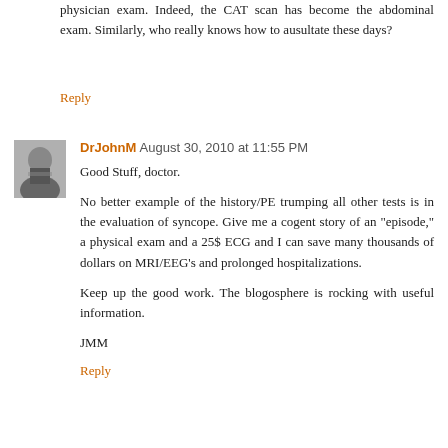physician exam. Indeed, the CAT scan has become the abdominal exam. Similarly, who really knows how to ausultate these days?
Reply
[Figure (photo): Avatar photo of DrJohnM, a man in a suit and tie]
DrJohnM August 30, 2010 at 11:55 PM
Good Stuff, doctor.

No better example of the history/PE trumping all other tests is in the evaluation of syncope. Give me a cogent story of an "episode," a physical exam and a 25$ ECG and I can save many thousands of dollars on MRI/EEG's and prolonged hospitalizations.

Keep up the good work. The blogosphere is rocking with useful information.

JMM
Reply